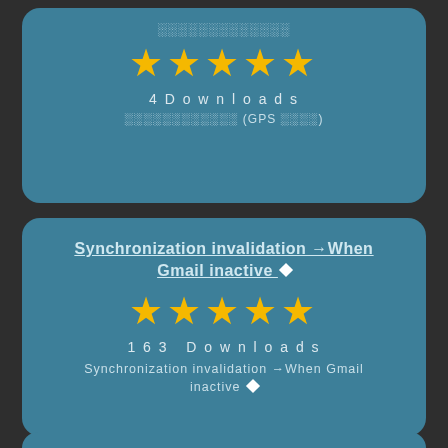░░░░░░░░░░░░░
[Figure (infographic): 5 gold stars rating]
4 Downloads
░░░░░░░░░░░░ (GPS ░░░░)
Synchronization invalidation →When Gmail inactive ◆
[Figure (infographic): 5 gold stars rating]
163 Downloads
Synchronization invalidation →When Gmail inactive ◆